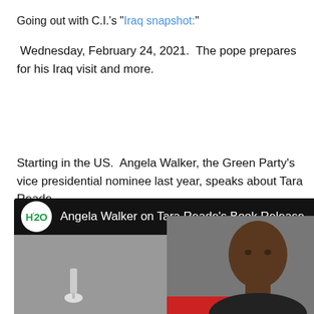Going out with C.I.'s "Iraq snapshot:"
Wednesday, February 24, 2021.  The pope prepares for his Iraq visit and more.
Starting in the US.  Angela Walker, the Green Party's vice presidential nominee last year, speaks about Tara Reade.
[Figure (screenshot): Video thumbnail for 'Angela Walker on Tara Reade's Book Release' on H2O channel, showing a person's face on the right side of the frame]